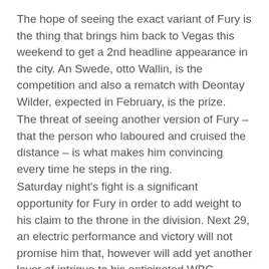The hope of seeing the exact variant of Fury is the thing that brings him back to Vegas this weekend to get a 2nd headline appearance in the city. An Swede, otto Wallin, is the competition and also a rematch with Deontay Wilder, expected in February, is the prize.
The threat of seeing another version of Fury – that the person who laboured and cruised the distance – is what makes him convincing every time he steps in the ring.
Saturday night's fight is a significant opportunity for Fury in order to add weight to his claim to the throne in the division. Next 29, an electric performance and victory will not promise him that, however will add yet another layer of intrigue to his anticipated WBC championship challenge against Wilder.